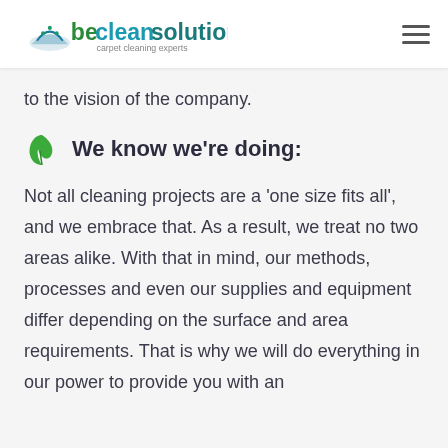be clean solutions — carpet cleaning experts
to the vision of the company.
We know we're doing:
Not all cleaning projects are a 'one size fits all', and we embrace that. As a result, we treat no two areas alike. With that in mind, our methods, processes and even our supplies and equipment differ depending on the surface and area requirements. That is why we will do everything in our power to provide you with an